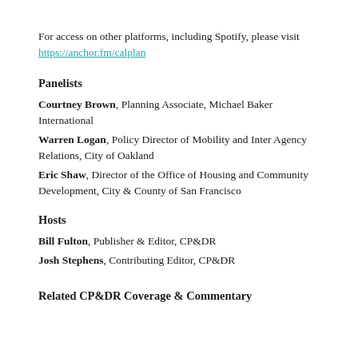For access on other platforms, including Spotify, please visit https://anchor.fm/calplan
Panelists
Courtney Brown, Planning Associate, Michael Baker International
Warren Logan, Policy Director of Mobility and Inter Agency Relations, City of Oakland
Eric Shaw, Director of the Office of Housing and Community Development, City & County of San Francisco
Hosts
Bill Fulton, Publisher & Editor, CP&DR
Josh Stephens, Contributing Editor, CP&DR
Related CP&DR Coverage & Commentary